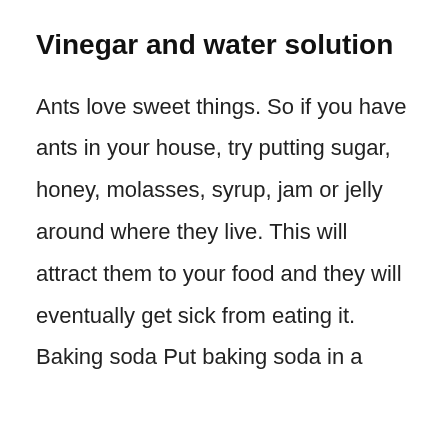Vinegar and water solution
Ants love sweet things. So if you have ants in your house, try putting sugar, honey, molasses, syrup, jam or jelly around where they live. This will attract them to your food and they will eventually get sick from eating it. Baking soda Put baking soda in a